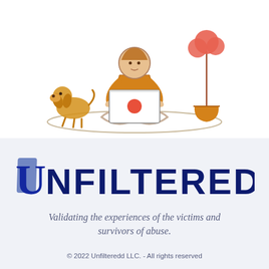[Figure (illustration): Line-art illustration of a person sitting cross-legged on a rug, working on a laptop. A golden dog sits to their left, and a potted plant with a coral/red round top is to their right. The person wears an orange/mustard top, the laptop has a coral circle on it.]
UNFILTEREDD
Validating the experiences of the victims and survivors of abuse.
© 2022 Unfilteredd LLC. - All rights reserved